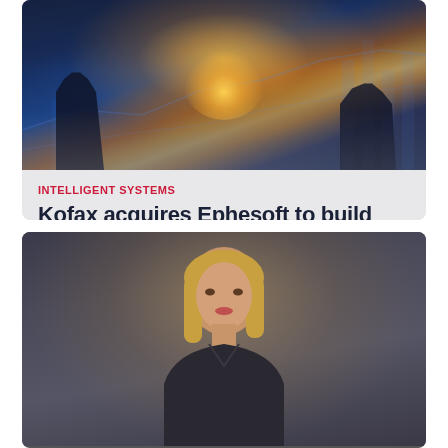[Figure (photo): Two businessmen shaking hands in a dark office with digital blue chart overlays in the background, with a bright golden light emanating from their handshake]
INTELLIGENT SYSTEMS
Kofax acquires Ephesoft to build out IDP solutions
Kofax, backed by TA Associates and Clearlake Capital Group, has officially acquired Ephesoft, adding to Kofax's IDP solutions.
[Figure (photo): Portrait of a middle-aged blonde woman against a dark grey background]